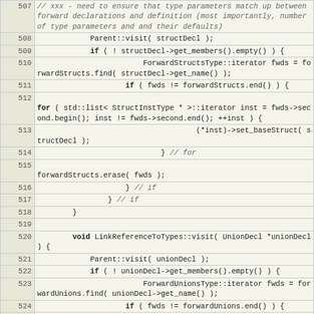[Figure (screenshot): Source code listing showing C++ code lines 507-525, with line numbers in a gutter column and code in a monospace font on a light yellow background. Includes comments, control structures, and function definitions.]